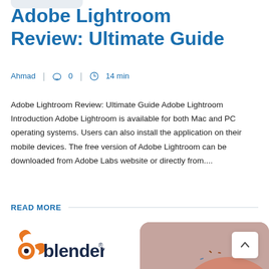Adobe Lightroom Review: Ultimate Guide
Ahmad  |  0  |  14 min
Adobe Lightroom Review: Ultimate Guide Adobe Lightroom Introduction Adobe Lightroom is available for both Mac and PC operating systems. Users can also install the application on their mobile devices. The free version of Adobe Lightroom can be downloaded from Adobe Labs website or directly from....
READ MORE
[Figure (logo): Blender logo with orange swirl icon and dark blue 'blender' text with trademark symbol]
[Figure (photo): Partial view of a donut on pinkish-beige background, partially cropped at bottom right]